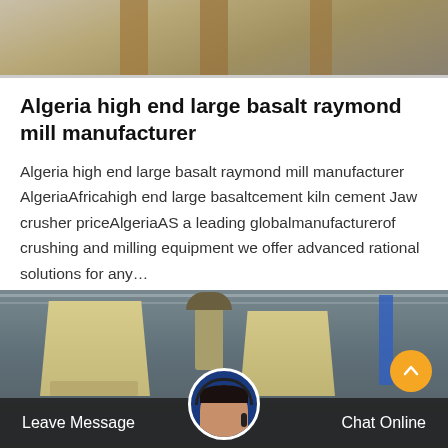[Figure (photo): Top partial photo of industrial basalt raymond mill equipment outdoors, sandy/tan colored wooden structures visible]
Algeria high end large basalt raymond mill manufacturer
Algeria high end large basalt raymond mill manufacturer AlgeriaAfricahigh end large basaltcement kiln cement Jaw crusher priceAlgeriaAS a leading globalmanufacturerof crushing and milling equipment we offer advanced rational solutions for any…
Get Price
[Figure (photo): Bottom photo showing industrial raymond mill machines (yellow/cream colored cone-shaped equipment) inside a large industrial warehouse/hall with metal roof structure. A customer service representative avatar and bottom navigation bar overlay the image.]